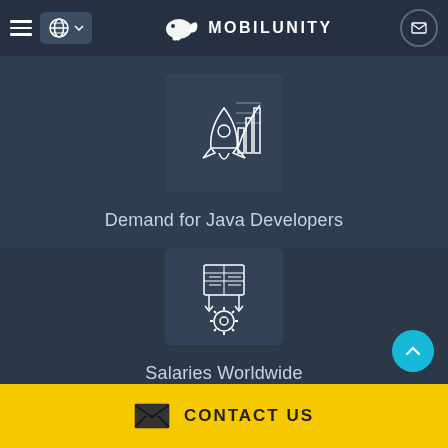Mobilunity - navigation header with logo, globe/language selector, hamburger menu, and mail button
[Figure (illustration): Icon box showing a rocket with bar chart graphic on dark background - representing demand for Java developers]
Demand for Java Developers
[Figure (illustration): Icon box showing a gear/settings with document and connections graphic on dark background - representing Salaries Worldwide]
Salaries Worldwide
CONTACT US